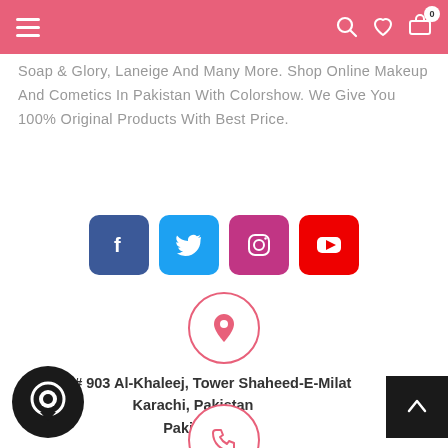Navigation bar with hamburger menu, search, wishlist, and cart (0) icons
Soap & Glory, Laneige And Many More. Shop Online Makeup And Cometics In Pakistan With Colorshow. We Give You 100% Original Products With Best Price.
[Figure (infographic): Social media icons: Facebook (blue), Twitter (cyan), Instagram (pink/magenta), YouTube (red)]
[Figure (infographic): Location pin icon inside a pink-bordered circle]
Suite # 903 Al-Khaleej, Tower Shaheed-E-Milat Karachi, Pakistan Pakistan
[Figure (infographic): Dark circular chat bubble icon (bottom left)]
[Figure (infographic): Back to top button (dark square with up arrow, bottom right)]
[Figure (infographic): Phone icon inside a pink-bordered circle (partially visible at bottom)]